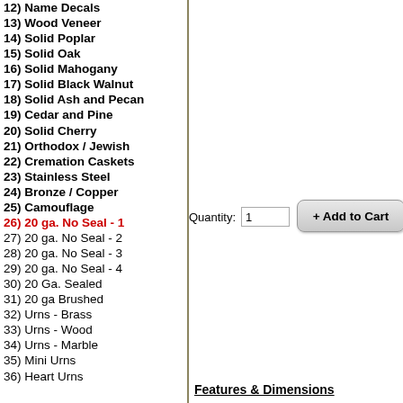12) Name Decals
13) Wood Veneer
14) Solid Poplar
15) Solid Oak
16) Solid Mahogany
17) Solid Black Walnut
18) Solid Ash and Pecan
19) Cedar and Pine
20) Solid Cherry
21) Orthodox / Jewish
22) Cremation Caskets
23) Stainless Steel
24) Bronze / Copper
25) Camouflage
26) 20 ga. No Seal - 1
27) 20 ga. No Seal - 2
28) 20 ga. No Seal - 3
29) 20 ga. No Seal - 4
30) 20 Ga. Sealed
31) 20 ga Brushed
32) Urns - Brass
33) Urns - Wood
34) Urns - Marble
35) Mini Urns
36) Heart Urns
Quantity: 1
+ Add to Cart
Features & Dimensions